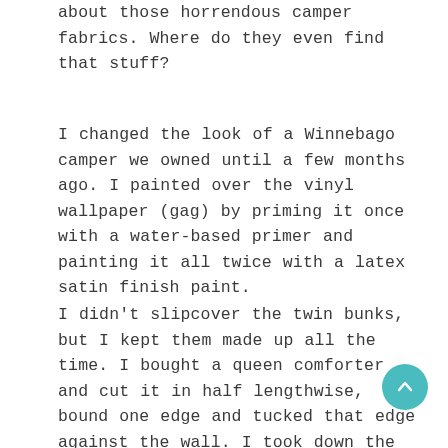about those horrendous camper fabrics. Where do they even find that stuff?
I changed the look of a Winnebago camper we owned until a few months ago. I painted over the vinyl wallpaper (gag) by priming it once with a water-based primer and painting it all twice with a latex satin finish paint.
I didn't slipcover the twin bunks, but I kept them made up all the time. I bought a queen comforter and cut it in half lengthwise, bound one edge and tucked that edge against the wall. I took down the (double gag) curtains, left the